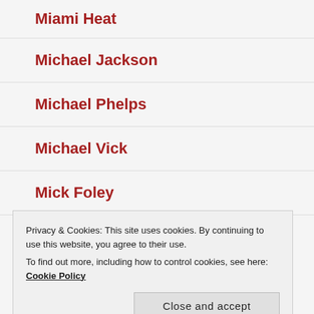Miami Heat
Michael Jackson
Michael Phelps
Michael Vick
Mick Foley
milkshake
Privacy & Cookies: This site uses cookies. By continuing to use this website, you agree to their use.
To find out more, including how to control cookies, see here: Cookie Policy
monkey